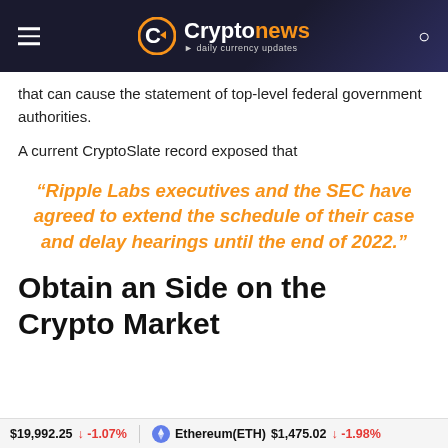Cryptonews · daily currency updates
that can cause the statement of top-level federal government authorities.
A current CryptoSlate record exposed that
“Ripple Labs executives and the SEC have agreed to extend the schedule of their case and delay hearings until the end of 2022.”
Obtain an Side on the Crypto Market
$19,992.25 ↓ -1.07%    Ethereum(ETH) $1,475.02 ↓ -1.98%